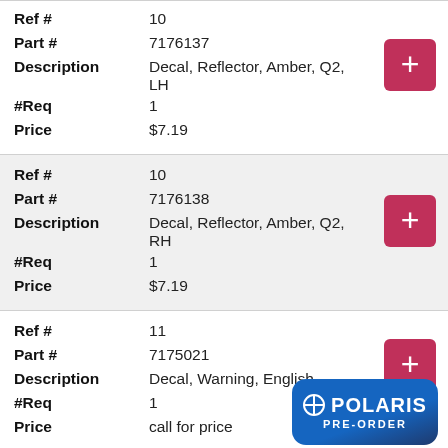| Field | Value |
| --- | --- |
| Ref # | 10 |
| Part # | 7176137 |
| Description | Decal, Reflector, Amber, Q2, LH |
| #Req | 1 |
| Price | $7.19 |
| Field | Value |
| --- | --- |
| Ref # | 10 |
| Part # | 7176138 |
| Description | Decal, Reflector, Amber, Q2, RH |
| #Req | 1 |
| Price | $7.19 |
| Field | Value |
| --- | --- |
| Ref # | 11 |
| Part # | 7175021 |
| Description | Decal, Warning, English |
| #Req | 1 |
| Price | call for price |